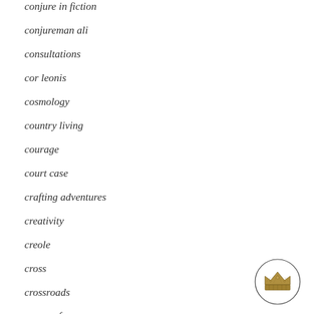conjure in fiction
conjureman ali
consultations
cor leonis
cosmology
country living
courage
court case
crafting adventures
creativity
creole
cross
crossroads
crown of success
cultural criticism
[Figure (illustration): A small circular emblem containing an illustrated crown, rendered in a detailed engraving style on a white background with a thin black circle border]